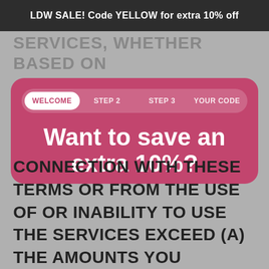LDW SALE! Code YELLOW for extra 10% off
SERVICES, WHETHER BASED ON
[Figure (screenshot): A modal dialog popup with pink/rose background. Contains a step progress bar (WELCOME, STEP 2, STEP 3, YOUR CODE) with WELCOME active. Heading reads 'Want to save an extra 10%?' with two white pill buttons labeled 'Yes' and 'No', and a 'Close' text link at the bottom.]
CONNECTION WITH THESE TERMS OR FROM THE USE OF OR INABILITY TO USE THE SERVICES EXCEED (A) THE AMOUNTS YOU